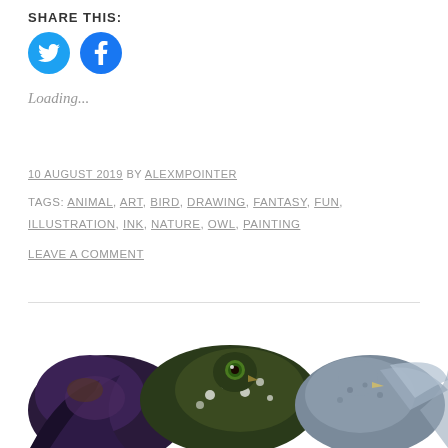SHARE THIS:
[Figure (illustration): Twitter and Facebook social share icon buttons (circular, teal/blue)]
Loading...
10 AUGUST 2019 BY ALEXMPOINTER
TAGS: ANIMAL, ART, BIRD, DRAWING, FANTASY, FUN, ILLUSTRATION, INK, NATURE, OWL, PAINTING
LEAVE A COMMENT
[Figure (illustration): Colorful illustrated birds/fantasy creatures at the bottom of the page]